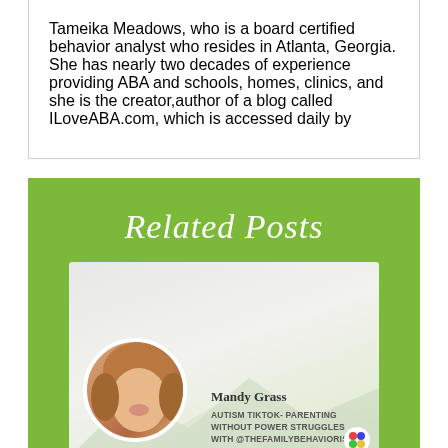Tameika Meadows, who is a board certified behavior analyst who resides in Atlanta, Georgia. She has nearly two decades of experience providing ABA and schools, homes, clinics, and she is the creator,author of a blog called ILoveABA.com, which is accessed daily by
Related Posts
[Figure (photo): Card showing Mandy Grass with a circular portrait photo on the left and text 'Mandy Grass / Autism TikTok- Parenting without Power Struggles with @thefamilybehaviorist' on the right, on a landscape background.]